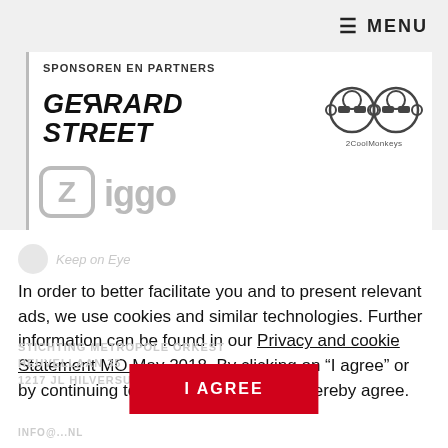≡ MENU
SPONSOREN EN PARTNERS
[Figure (logo): GERRARD STREET bold italic logo]
[Figure (logo): 2CoolMonkeys logo with two monkey face icons]
[Figure (logo): Ziggo logo in grey rounded rectangle style]
Vereniging
Keep on Eye
In order to better facilitate you and to present relevant ads, we use cookies and similar technologies. Further information can be found in our Privacy and cookie Statement MO May 2018. By clicking on “I agree” or by continuing to use this website, you hereby agree.
STICHTING METROPOLE ORKEST
HEUVELLAAN 35
1217 JL HILVERSUM
I AGREE
INFO@...NL